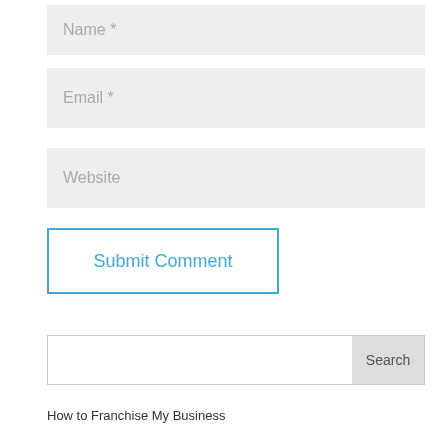Name *
Email *
Website
Submit Comment
Search
How to Franchise My Business